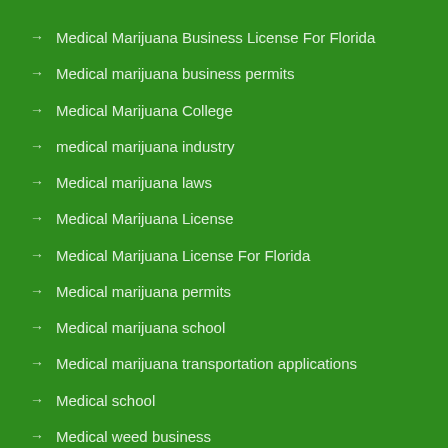Medical Marijuana Business License For Florida
Medical marijuana business permits
Medical Marijuana College
medical marijuana industry
Medical marijuana laws
Medical Marijuana License
Medical Marijuana License For Florida
Medical marijuana permits
Medical marijuana school
Medical marijuana transportation applications
Medical school
Medical weed business